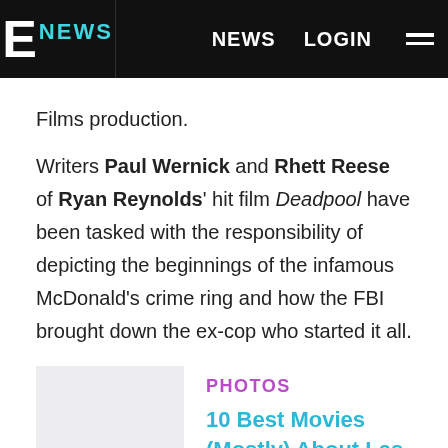E! NEWS  NEWS  LOGIN
Films production.
Writers Paul Wernick and Rhett Reese of Ryan Reynolds' hit film Deadpool have been tasked with the responsibility of depicting the beginnings of the infamous McDonald's crime ring and how the FBI brought down the ex-cop who started it all.
PHOTOS
10 Best Movies (Mostly) About Las Vegas